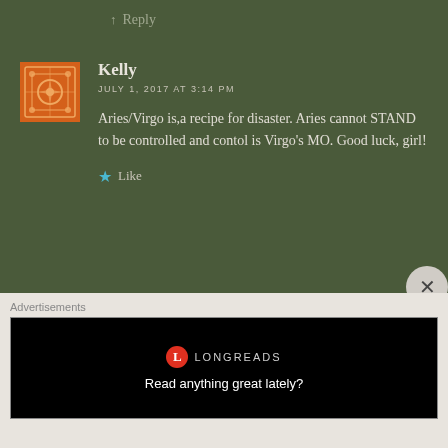↑ Reply
Kelly
JULY 1, 2017 AT 3:14 PM
Aries/Virgo is,a recipe for disaster. Aries cannot STAND to be controlled and contol is Virgo's MO. Good luck, girl!
Like
lacrease
JULY 1, 2017 AT 6:50 PM
Advertisements
LONGREADS
Read anything great lately?